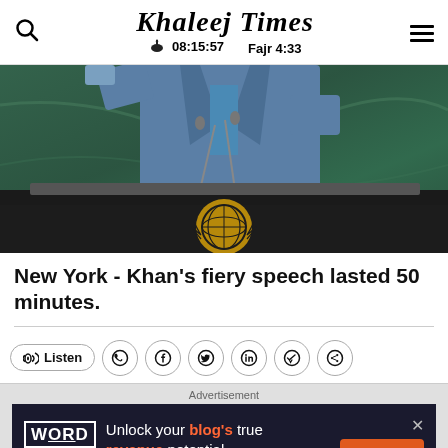Khaleej Times | 08:15:57 | Fajr 4:33
[Figure (photo): A person in a blue suit speaking at a United Nations podium, with the UN emblem visible on the dark podium front and green marble-like background.]
New York - Khan's fiery speech lasted 50 minutes.
Listen | Social share buttons: WhatsApp, Facebook, Twitter, LinkedIn, Telegram, Share
Advertisement
[Figure (screenshot): Advertisement banner for Word Minorities: 'Unlock your blog's true revenue potential' with GET STARTED button in orange.]